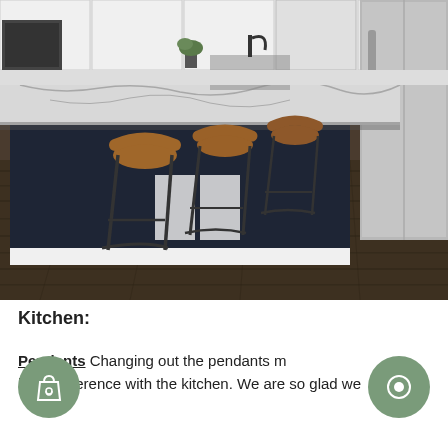[Figure (photo): Photograph of a modern kitchen interior featuring a large island with white and gray granite countertop, dark navy/black base cabinets with white trim, three brown leather bar stools with black metal legs, stainless steel refrigerator on the right, dark wood-look plank flooring, and white upper cabinets in the background.]
Kitchen:
Pendants Changing out the pendants made a huge difference with the kitchen. We are so glad we